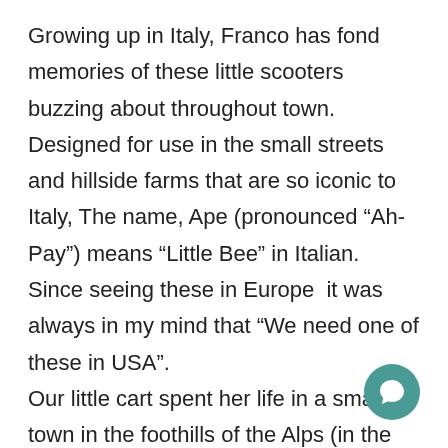Growing up in Italy, Franco has fond memories of these little scooters buzzing about throughout town. Designed for use in the small streets and hillside farms that are so iconic to Italy, The name, Ape (pronounced “Ah-Pay”) means “Little Bee” in Italian. Since seeing these in Europe it was always in my mind that “We need one of these in USA”. Our little cart spent her life in a small town in the foothills of the Alps (in the village of Biella) where her one owner used to load huge jugs of wine as well as other materials for the family farm up and down the steep and narrow roads carved into the h She might be small, but she is mighty!